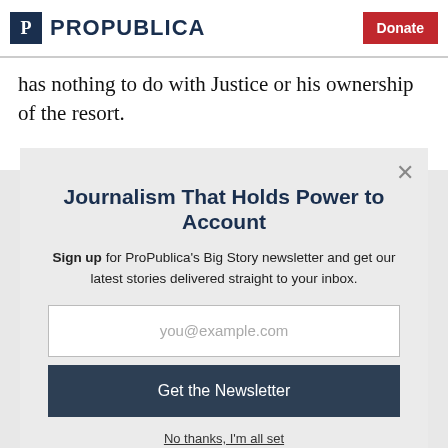ProPublica | Donate
has nothing to do with Justice or his ownership of the resort.
Journalism That Holds Power to Account
Sign up for ProPublica's Big Story newsletter and get our latest stories delivered straight to your inbox.
you@example.com
Get the Newsletter
No thanks, I'm all set
This site is protected by reCAPTCHA and the Google Privacy Policy and Terms of Service apply.